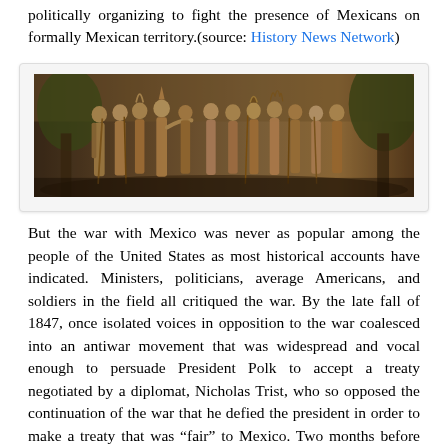politically organizing to fight the presence of Mexicans on formally Mexican territory.(source: History News Network)
[Figure (illustration): A sepia-toned historical relief or mural depicting a group of figures in traditional and colonial-era clothing, appearing to be in a ceremonial or diplomatic scene, with trees in the background.]
But the war with Mexico was never as popular among the people of the United States as most historical accounts have indicated. Ministers, politicians, average Americans, and soldiers in the field all critiqued the war. By the late fall of 1847, once isolated voices in opposition to the war coalesced into an antiwar movement that was widespread and vocal enough to persuade President Polk to accept a treaty negotiated by a diplomat, Nicholas Trist, who so opposed the continuation of the war that he defied the president in order to make a treaty that was “fair” to Mexico. Two months before Trist’s Treaty of Guadalupe Hidalgo arrived in Washington, President Polk appeared adamant that any peace treaty with Mexico deliver Baja California and